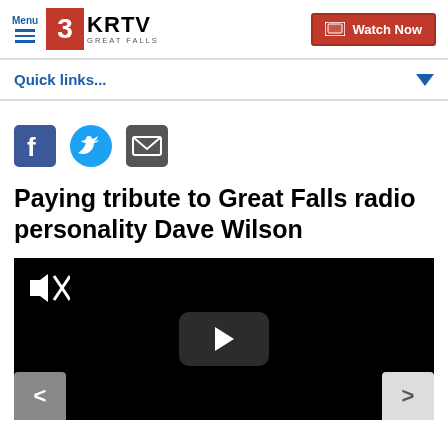3KRTV Great Falls — Menu | Watch Now
Quick links...
[Figure (other): Social share icons: Facebook, Twitter, Email]
Paying tribute to Great Falls radio personality Dave Wilson
[Figure (other): Video player with mute icon, previous and next navigation arrows, and a play button on a black background]